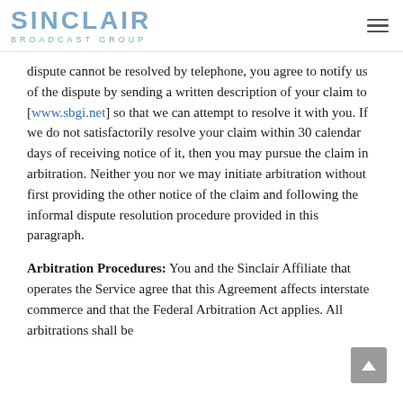SINCLAIR BROADCAST GROUP
dispute cannot be resolved by telephone, you agree to notify us of the dispute by sending a written description of your claim to [www.sbgi.net] so that we can attempt to resolve it with you. If we do not satisfactorily resolve your claim within 30 calendar days of receiving notice of it, then you may pursue the claim in arbitration. Neither you nor we may initiate arbitration without first providing the other notice of the claim and following the informal dispute resolution procedure provided in this paragraph.
Arbitration Procedures: You and the Sinclair Affiliate that operates the Service agree that this Agreement affects interstate commerce and that the Federal Arbitration Act applies. All arbitrations shall be